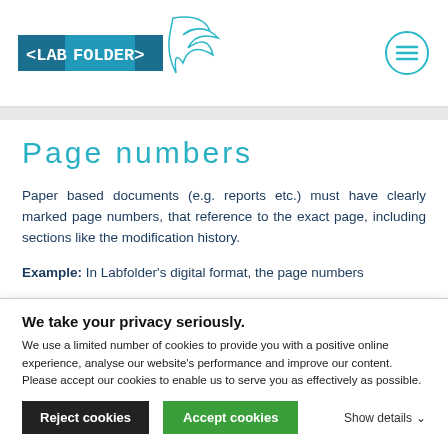[Figure (logo): LabFolder logo with teal bird/leaf icon and hamburger menu icon in teal circle]
Page numbers
Paper based documents (e.g. reports etc.) must have clearly marked page numbers, that reference to the exact page, including sections like the modification history.
Example: In Labfolder's digital format, the page numbers
We take your privacy seriously.
We use a limited number of cookies to provide you with a positive online experience, analyse our website's performance and improve our content. Please accept our cookies to enable us to serve you as effectively as possible.
Reject cookies
Accept cookies
Show details